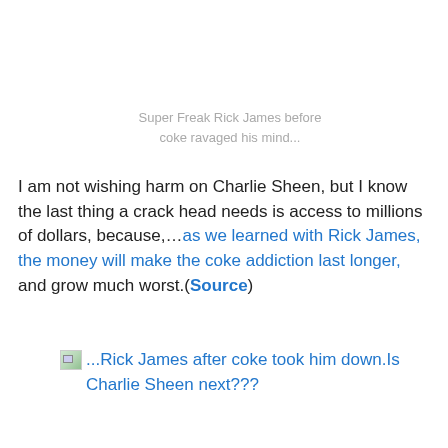Super Freak Rick James before coke ravaged his mind...
I am not wishing harm on Charlie Sheen, but I know the last thing a crack head needs is access to millions of dollars, because,...as we learned with Rick James, the money will make the coke addiction last longer, and grow much worst.(Source)
...Rick James after coke took him down.Is Charlie Sheen next???